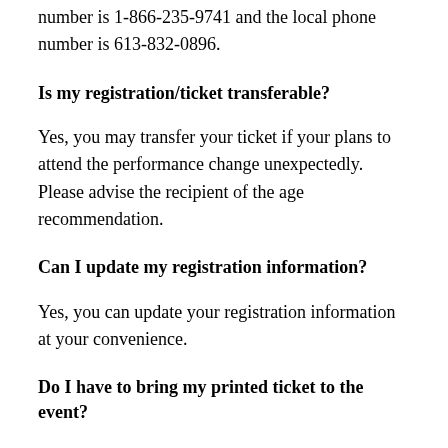number is 1-866-235-9741 and the local phone number is 613-832-0896.
Is my registration/ticket transferable?
Yes, you may transfer your ticket if your plans to attend the performance change unexpectedly. Please advise the recipient of the age recommendation.
Can I update my registration information?
Yes, you can update your registration information at your convenience.
Do I have to bring my printed ticket to the event?
Yes, you do need your printed ticket at the door to be admitted to the event.
What is the refund policy?